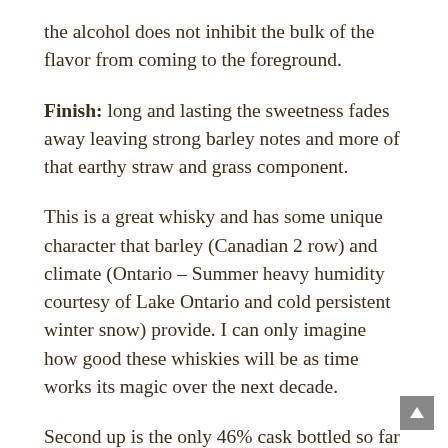the alcohol does not inhibit the bulk of the flavor from coming to the foreground.
Finish: long and lasting the sweetness fades away leaving strong barley notes and more of that earthy straw and grass component.
This is a great whisky and has some unique character that barley (Canadian 2 row) and climate (Ontario – Summer heavy humidity courtesy of Lake Ontario and cold persistent winter snow) provide. I can only imagine how good these whiskies will be as time works its magic over the next decade.
Second up is the only 46% cask bottled so far thanks to the Liquor Depot group that purchased